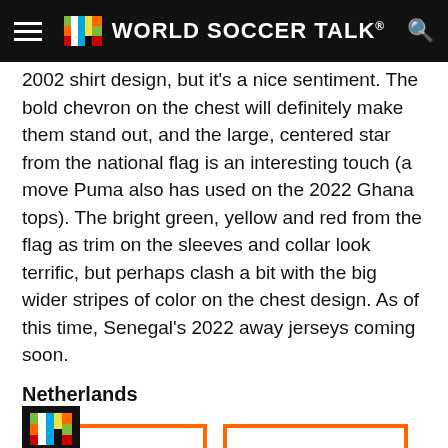World Soccer Talk
2002 shirt design, but it's a nice sentiment. The bold chevron on the chest will definitely make them stand out, and the large, centered star from the national flag is an interesting touch (a move Puma also has used on the 2022 Ghana tops). The bright green, yellow and red from the flag as trim on the sleeves and collar look terrific, but perhaps clash a bit with the big wider stripes of color on the chest design. As of this time, Senegal's 2022 away jerseys coming soon.
Netherlands
[Figure (photo): Two orange-bordered image placeholders showing Netherlands jersey thumbnails, with World Soccer Talk mini logo overlay on the left image.]